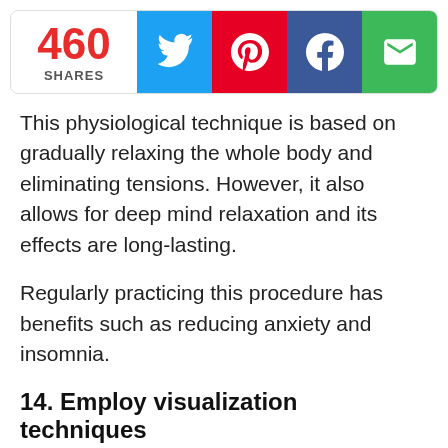[Figure (infographic): Social share bar showing 460 shares with Twitter (blue), Pinterest (red), Facebook (dark blue), and email (green) buttons]
This physiological technique is based on gradually relaxing the whole body and eliminating tensions. However, it also allows for deep mind relaxation and its effects are long-lasting.
Regularly practicing this procedure has benefits such as reducing anxiety and insomnia.
14. Employ visualization techniques
Close your eyes and think of a scenario that conveys peace to you. Whether you want to